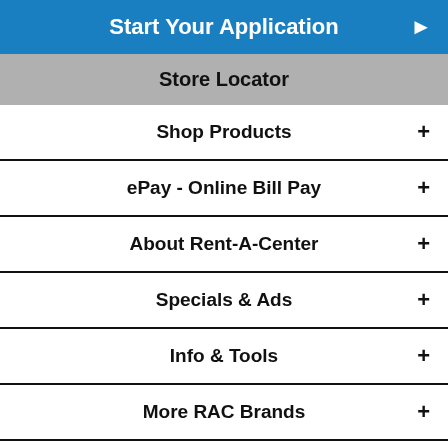Start Your Application
Store Locator
Shop Products
ePay - Online Bill Pay
About Rent-A-Center
Specials & Ads
Info & Tools
More RAC Brands
© 2022 Rent-A-Center® All Rights Reserved. | Privacy Policy | Web Accessibility | ePay Terms | California Transparency in Supply Chain Act